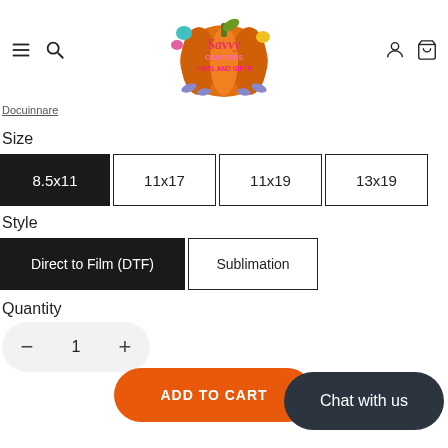[Figure (logo): Savvy Crafters Vinyl and Gifts logo on an orange pumpkin with decorative elements]
Docuinnare
Size
8.5x11 (selected)
11x17
11x19
13x19
Style
Direct to Film (DTF) (selected)
Sublimation
Quantity
1
ADD TO CART
Chat with us